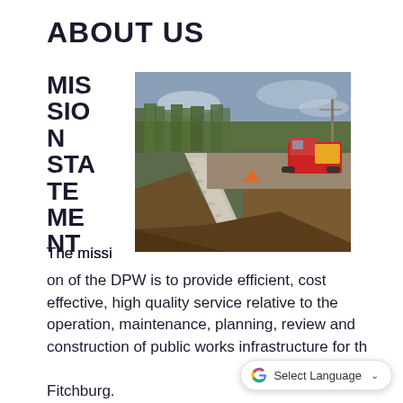ABOUT US
MISSION STATEMENT
[Figure (photo): Road construction site showing a gravel drainage channel dug alongside a dirt road, with trees in the background, a red utility truck parked on the right, and an orange traffic cone visible in the middle distance.]
The mission of the DPW is to provide efficient, cost effective, high quality service relative to the operation, maintenance, planning, review and construction of public works infrastructure for the City of Fitchburg.